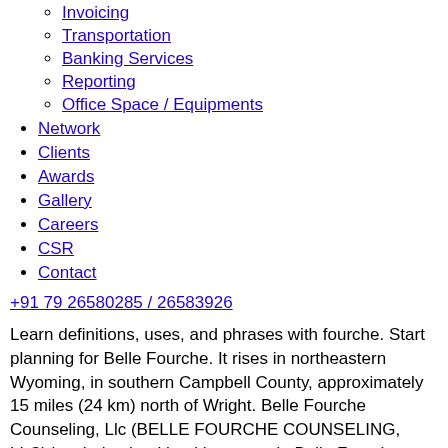Invoicing
Transportation
Banking Services
Reporting
Office Space / Equipments
Network
Clients
Awards
Gallery
Careers
CSR
Contact
+91 79 26580285 / 26583926
Learn definitions, uses, and phrases with fourche. Start planning for Belle Fourche. It rises in northeastern Wyoming, in southern Campbell County, approximately 15 miles (24 km) north of Wright. Belle Fourche Counseling, Llc (BELLE FOURCHE COUNSELING, LLC) is a behavioral health agency in Belle Fourche, South Dakota.The NPI Number for Belle Fourche Counseling, Llc is 1215476577.Behavioral health centers are responsible for assuring the delivery of community based mental health, mental retardation, substance abuse and/or behavioral health services to individuals … It flows northeast around the north